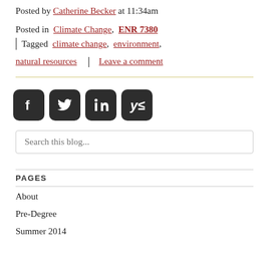Posted by Catherine Becker at 11:34am
Posted in  Climate Change,  ENR 7380  |  Tagged  climate change,  environment,  natural resources  |  Leave a comment
[Figure (other): Social media share icons: Facebook, Twitter, LinkedIn, Yammer]
Search this blog...
PAGES
About
Pre-Degree
Summer 2014